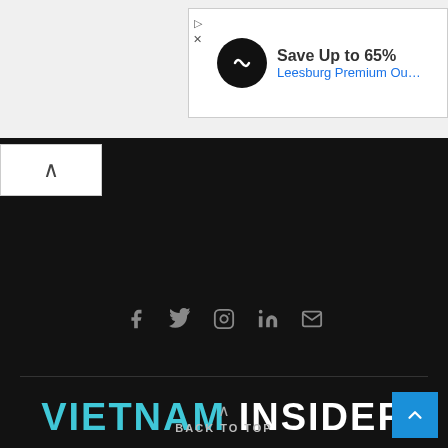[Figure (screenshot): Advertisement banner: Save Up to 65% Leesburg Premium Outlets]
[Figure (screenshot): Social media icons: Facebook, Twitter, Instagram, LinkedIn, Email]
VIETNAM INSIDER
Write for us   Media OutReach   Business Wire   Contact
Copyright © 2020 Vietnam Insider. All rights reserved. | Email: editor@vietnaminsider.vn
BACK TO TOP